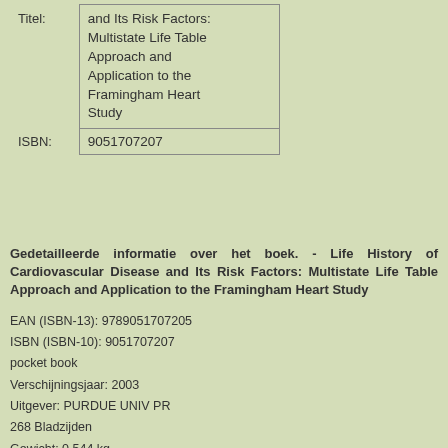|  |  |
| --- | --- |
| Titel: | and Its Risk Factors: Multistate Life Table Approach and Application to the Framingham Heart Study |
| ISBN: | 9051707207 |
Gedetailleerde informatie over het boek. - Life History of Cardiovascular Disease and Its Risk Factors: Multistate Life Table Approach and Application to the Framingham Heart Study
EAN (ISBN-13): 9789051707205
ISBN (ISBN-10): 9051707207
pocket book
Verschijningsjaar: 2003
Uitgever: PURDUE UNIV PR
268 Bladzijden
Gewicht: 0,544 kg
Taal: eng/Englisch
Boek bevindt zich in het datenbestand sinds 2007-05-30T00:03:40+02:00 (Amsterdam)
Detailpagina laatst gewijzigd op 2014-04-08T18:13:32+02:00 (Amsterdam)
ISBN/EAN: 9051707207

ISBN - alternatieve schrijfwijzen:
90-5170-720-7, 978-90-5170-720-5